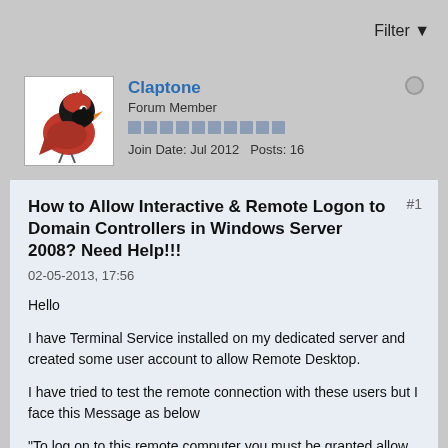Filter
[Figure (photo): Cardinal bird avatar image (dark red/black bird facing left)]
Claptone
Forum Member
Join Date: Jul 2012   Posts: 16
How to Allow Interactive & Remote Logon to Domain Controllers in Windows Server 2008? Need Help!!!
#1
02-05-2013, 17:56
Hello
I have Terminal Service installed on my dedicated server and created some user account to allow Remote Desktop.
I have tried to test the remote connection with these users but I face this Message as below
"To log on to this remote computer you must be granted allow log on through terminal services"
What am I missing here ?? I am really in need of your expert advice